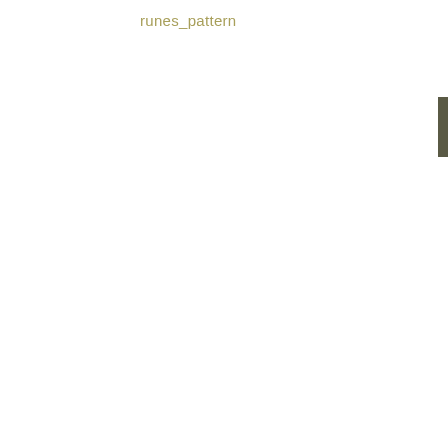runes_pattern
[Figure (other): A small dark olive/brown rectangular element on the right edge of the page, positioned near the top-right corner, appearing as a UI tab or sidebar element.]